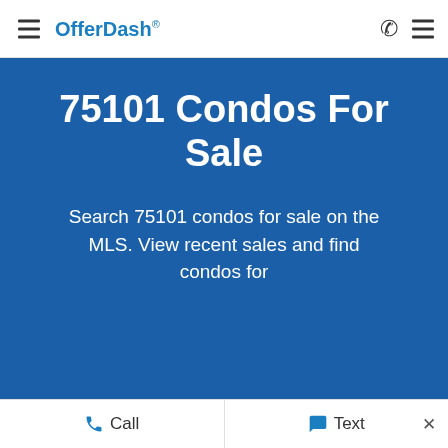OfferDash
75101 Condos For Sale
Search 75101 condos for sale on the MLS. View recent sales and find condos for
Call   Text